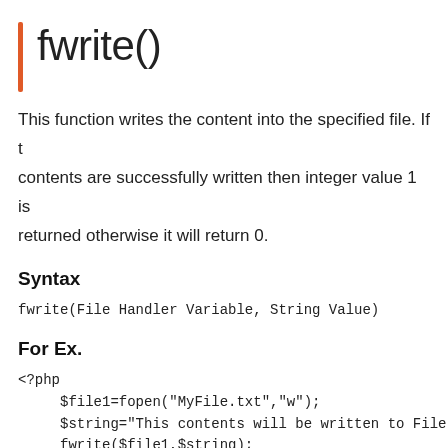fwrite()
This function writes the content into the specified file. If the contents are successfully written then integer value 1 is returned otherwise it will return 0.
Syntax
For Ex.
<?php
     $file1=fopen("MyFile.txt","w");
     $string="This contents will be written to File";
     fwrite($file1,$string);
?>
Output